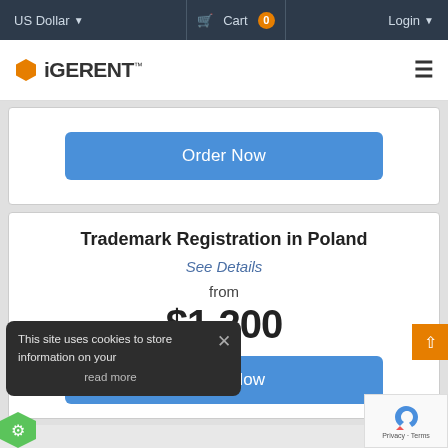US Dollar   Cart 0   Login
[Figure (logo): iGERENT logo with orange hexagon icon and hamburger menu]
Order Now
Trademark Registration in Poland
See Details
from
$1,200
Order Now
This site uses cookies to store information on your read more